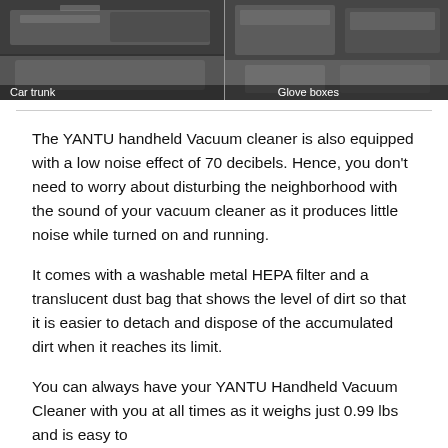[Figure (photo): Two side-by-side photos: left shows a car trunk interior, right shows glove boxes. Each photo has a white text label overlaid at the bottom.]
The YANTU handheld Vacuum cleaner is also equipped with a low noise effect of 70 decibels. Hence, you don't need to worry about disturbing the neighborhood with the sound of your vacuum cleaner as it produces little noise while turned on and running.
It comes with a washable metal HEPA filter and a translucent dust bag that shows the level of dirt so that it is easier to detach and dispose of the accumulated dirt when it reaches its limit.
You can always have your YANTU Handheld Vacuum Cleaner with you at all times as it weighs just 0.99 lbs and is easy to